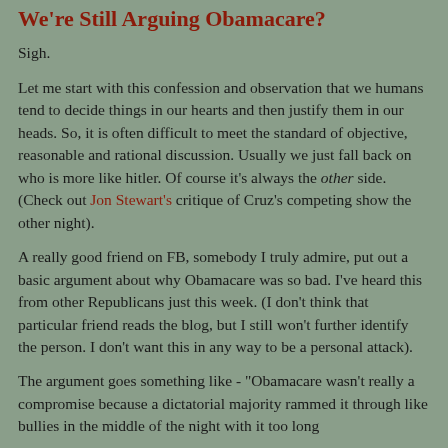We're Still Arguing Obamacare?
Sigh.
Let me start with this confession and observation that we humans tend to decide things in our hearts and then justify them in our heads. So, it is often difficult to meet the standard of objective, reasonable and rational discussion. Usually we just fall back on who is more like hitler. Of course it's always the other side. (Check out Jon Stewart's critique of Cruz's competing show the other night).
A really good friend on FB, somebody I truly admire, put out a basic argument about why Obamacare was so bad. I've heard this from other Republicans just this week. (I don't think that particular friend reads the blog, but I still won't further identify the person. I don't want this in any way to be a personal attack).
The argument goes something like - "Obamacare wasn't really a compromise because a dictatorial majority rammed it through like bullies in the middle of the night with it too long